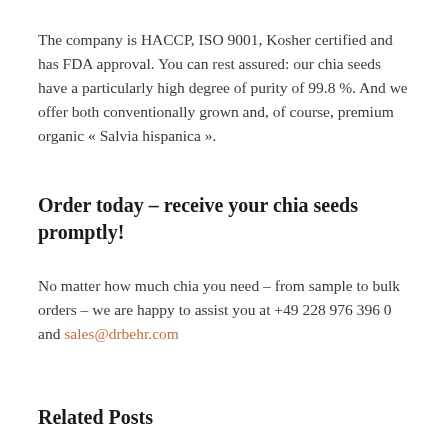The company is HACCP, ISO 9001, Kosher certified and has FDA approval. You can rest assured: our chia seeds have a particularly high degree of purity of 99.8 %. And we offer both conventionally grown and, of course, premium organic « Salvia hispanica ».
Order today – receive your chia seeds promptly!
No matter how much chia you need – from sample to bulk orders – we are happy to assist you at +49 228 976 396 0 and sales@drbehr.com
Related Posts